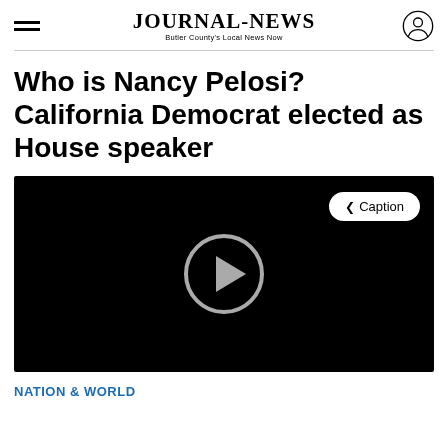JOURNAL-NEWS Butler County's Local News Now
Who is Nancy Pelosi? California Democrat elected as House speaker
[Figure (screenshot): Video player with black background, circular play button in center, and a Caption button in the top right corner]
NATION & WORLD